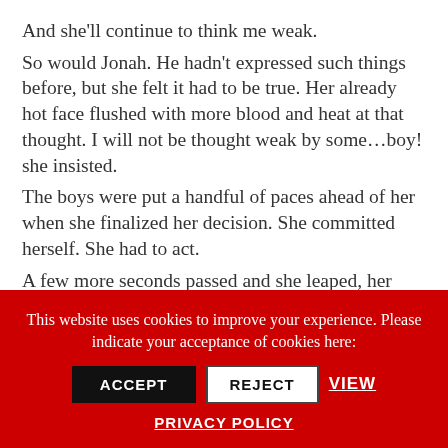And she'll continue to think me weak.
So would Jonah. He hadn't expressed such things before, but she felt it had to be true. Her already hot face flushed with more blood and heat at that thought. I will not be thought weak by some…boy! she insisted.
The boys were put a handful of paces ahead of her when she finalized her decision. She committed herself. She had to act.
A few more seconds passed and she leaped, her foot flying out ahead of her. It connected, all of her weight bearing down on the side of the boy's
This website uses cookies to improve your experience. Please indicate your acceptance of cookies here: ACCEPT   REJECT   VIEW PRIVACY POLICY